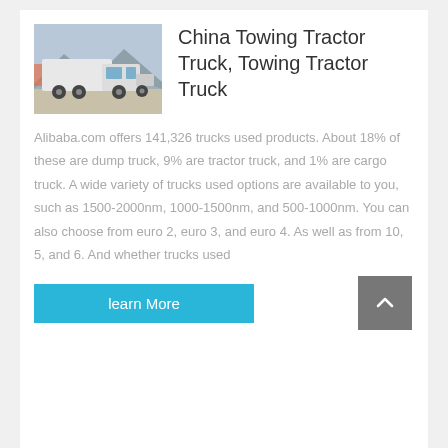[Figure (photo): Photo of a white towing tractor truck on an open road with mountains in background]
China Towing Tractor Truck, Towing Tractor Truck
Alibaba.com offers 141,326 trucks used products. About 18% of these are dump truck, 9% are tractor truck, and 1% are cargo truck. A wide variety of trucks used options are available to you, such as 1500-2000nm, 1000-1500nm, and 500-1000nm. You can also choose from euro 2, euro 3, and euro 4. As well as from 10, 5, and 6. And whether trucks used
learn More